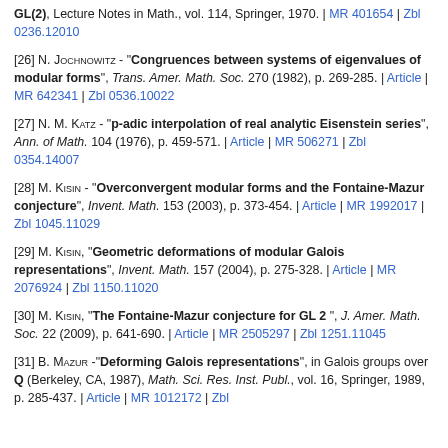GL(2), Lecture Notes in Math., vol. 114, Springer, 1970. | MR 401654 | Zbl 0236.12010
[26] N. Jochnowitz - "Congruences between systems of eigenvalues of modular forms", Trans. Amer. Math. Soc. 270 (1982), p. 269-285. | Article | MR 642341 | Zbl 0536.10022
[27] N. M. Katz - "p-adic interpolation of real analytic Eisenstein series", Ann. of Math. 104 (1976), p. 459-571. | Article | MR 506271 | Zbl 0354.14007
[28] M. Kisin - "Overconvergent modular forms and the Fontaine-Mazur conjecture", Invent. Math. 153 (2003), p. 373-454. | Article | MR 1992017 | Zbl 1045.11029
[29] M. Kisin, "Geometric deformations of modular Galois representations", Invent. Math. 157 (2004), p. 275-328. | Article | MR 2076924 | Zbl 1150.11020
[30] M. Kisin, "The Fontaine-Mazur conjecture for GL 2", J. Amer. Math. Soc. 22 (2009), p. 641-690. | Article | MR 2505297 | Zbl 1251.11045
[31] B. Mazur -"Deforming Galois representations", in Galois groups over Q (Berkeley, CA, 1987), Math. Sci. Res. Inst. Publ., vol. 16, Springer, 1989, p. 385-437. | Article | MR 1012172 | Zbl